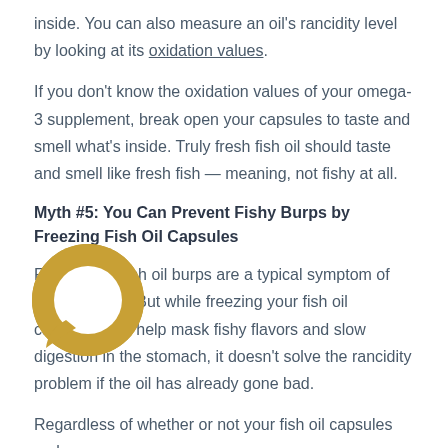inside. You can also measure an oil's rancidity level by looking at its oxidation values.
If you don't know the oxidation values of your omega-3 supplement, break open your capsules to taste and smell what's inside. Truly fresh fish oil should taste and smell like fresh fish — meaning, not fishy at all.
Myth #5: You Can Prevent Fishy Burps by Freezing Fish Oil Capsules
Foul-tasting fish oil burps are a typical symptom of rancid fish oil. But while freezing your fish oil capsules may help mask fishy flavors and slow digestion in the stomach, it doesn't solve the rancidity problem if the oil has already gone bad.
Regardless of whether or not your fish oil capsules make